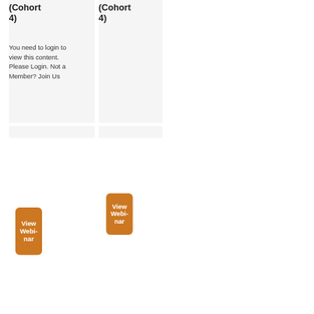(Cohort 4)
(Cohort 4)
You need to login to view this content. Please Login. Not a Member? Join Us
[Figure (other): Orange rounded button with white bold text 'View Webinar']
[Figure (other): Orange rounded button with white bold text 'View Webinar']